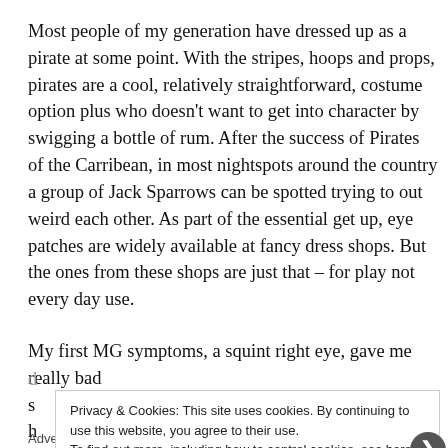Most people of my generation have dressed up as a pirate at some point. With the stripes, hoops and props, pirates are a cool, relatively straightforward, costume option plus who doesn’t want to get into character by swigging a bottle of rum. After the success of Pirates of the Carribean, in most nightspots around the country a group of Jack Sparrows can be spotted trying to out weird each other. As part of the essential get up, eye patches are widely available at fancy dress shops. But the ones from these shops are just that – for play not every day use.
My first MG symptoms, a squint right eye, gave me really bad d...
Privacy & Cookies: This site uses cookies. By continuing to use this website, you agree to their use.
To find out more, including how to control cookies, see here: Cookie Policy
Close and accept
Advertisements